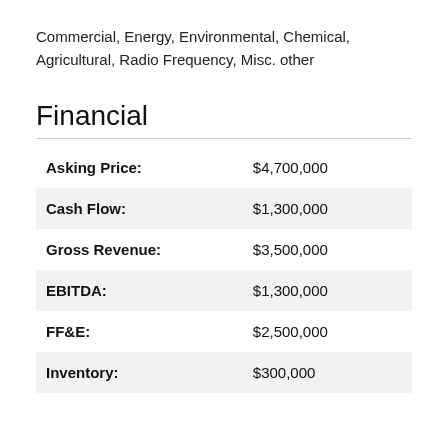Commercial, Energy, Environmental, Chemical, Agricultural, Radio Frequency, Misc. other
Financial
| Label | Value |
| --- | --- |
| Asking Price: | $4,700,000 |
| Cash Flow: | $1,300,000 |
| Gross Revenue: | $3,500,000 |
| EBITDA: | $1,300,000 |
| FF&E: | $2,500,000 |
| Inventory: | $300,000 |